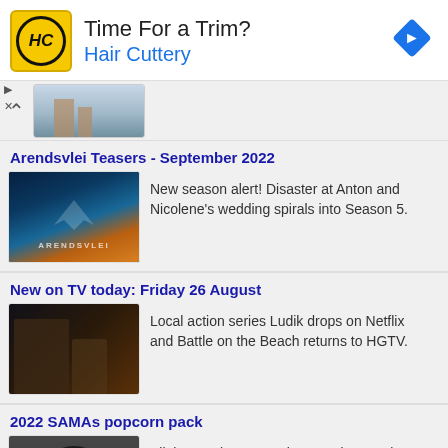[Figure (infographic): Hair Cuttery advertisement banner: yellow HC logo, text 'Time For a Trim?' and 'Hair Cuttery' in blue, blue navigation diamond arrow on right]
[Figure (photo): Partially visible article thumbnail at top of page showing building/architecture image]
Arendsvlei Teasers - September 2022
[Figure (photo): Arendsvlei TV show promotional image with eagle and dramatic sky]
New season alert! Disaster at Anton and Nicolene's wedding spirals into Season 5.
New on TV today: Friday 26 August
[Figure (photo): TV show Ludik promotional image with bald man]
Local action series Ludik drops on Netflix and Battle on the Beach returns to HGTV.
2022 SAMAs popcorn pack
[Figure (photo): Vinyl record with red label, SAMAs awards show promotional image]
All the nominees, TV times and streaming companion shows for this weekend's awards.